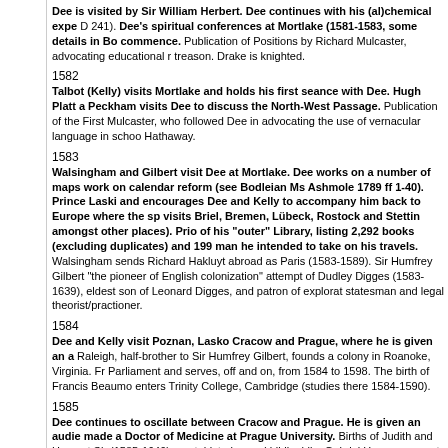Dee is visited by Sir William Herbert. Dee continues with his (al)chemical experiments (Add Ms D 241). Dee's spiritual conferences at Mortlake (1581-1583, some details in Bodleian Ms Ashmole) commence. Publication of Positions by Richard Mulcaster, advocating educational reform. Parry is executed for treason. Drake is knighted.
1582
Talbot (Kelly) visits Mortlake and holds his first seance with Dee. Hugh Platt advises Dee. Peckham visits Dee to discuss the North-West Passage. Publication of the First... Mulcaster, who followed Dee in advocating the use of vernacular language in school... Hathaway.
1583
Walsingham and Gilbert visit Dee at Mortlake. Dee works on a number of maps... work on calendar reform (see Bodleian Ms Ashmole 1789 ff 1-40). Prince Laski... and encourages Dee and Kelly to accompany him back to Europe where the sp... visits Briel, Bremen, Lübeck, Rostock and Stettin amongst other places). Prior... of his "outer" Library, listing 2,292 books (excluding duplicates) and 199 manu... he intended to take on his travels. Walsingham sends Richard Hakluyt abroad as... Paris (1583-1589). Sir Humfrey Gilbert "the pioneer of English colonization" attempts... of Dudley Digges (1583-1639), eldest son of Leonard Digges, and patron of explorat... statesman and legal theorist/practioner.
1584
Dee and Kelly visit Poznan, Lasko Cracow and Prague, where he is given an au... Raleigh, half-brother to Sir Humfrey Gilbert, founds a colony in Roanoke, Virginia. Fr... Parliament and serves, off and on, from 1584 to 1598. The birth of Francis Beaumo... enters Trinity College, Cambridge (studies there 1584-1590).
1585
Dee continues to oscillate between Cracow and Prague. He is given an audien... made a Doctor of Medicine at Prague University. Births of Judith and Hamnet Sh... (1585-1649), poet, historian and bibliophile. Gabriel Harvey moves to London to pra... Wriothesley, Earl of Southampton, studies at St John's College, Cambridge (From 1... the first of three voyages attempting to discover a North-West Passage to China. Dr... galleons in the West Indies. Death of Thomas Tallis (1505-1585), composer.
1586
Whilst Dee is abroad his library at Mortlake is vandalised and books are stole...